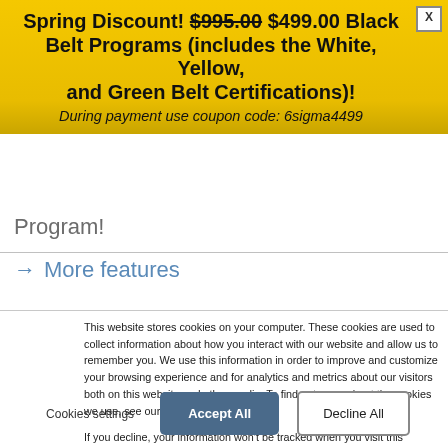Spring Discount! $995.00 $499.00 Black Belt Programs (includes the White, Yellow, and Green Belt Certifications)!
During payment use coupon code: 6sigma4499
Program!
→ More features
This website stores cookies on your computer. These cookies are used to collect information about how you interact with our website and allow us to remember you. We use this information in order to improve and customize your browsing experience and for analytics and metrics about our visitors both on this website and other media. To find out more about the cookies we use, see our Privacy Policy
If you decline, your information won't be tracked when you visit this website. A single cookie will be used in your browser to remember your preference not to be tracked.
Cookies settings
Accept All
Decline All